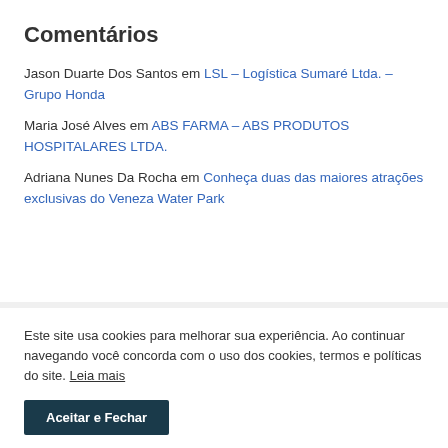Comentários
Jason Duarte Dos Santos em LSL – Logística Sumaré Ltda. – Grupo Honda
Maria José Alves em ABS FARMA – ABS PRODUTOS HOSPITALARES LTDA.
Adriana Nunes Da Rocha em Conheça duas das maiores atrações exclusivas do Veneza Water Park
Este site usa cookies para melhorar sua experiência. Ao continuar navegando você concorda com o uso dos cookies, termos e políticas do site. Leia mais
Aceitar e Fechar